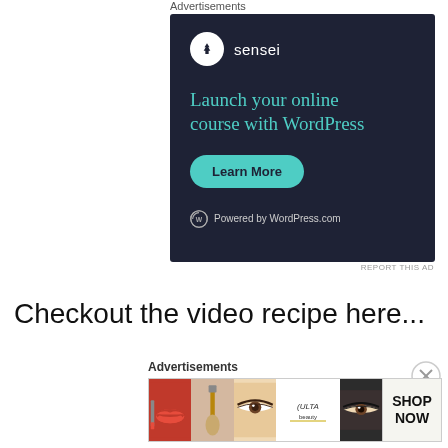Advertisements
[Figure (infographic): Sensei advertisement on dark navy background. Logo with tree icon and 'sensei' text. Headline: 'Launch your online course with WordPress'. Green 'Learn More' button. 'Powered by WordPress.com' footer.]
REPORT THIS AD
Checkout the video recipe here...
Advertisements
[Figure (infographic): Ulta Beauty advertisement strip showing makeup images: lips with lipstick, makeup brush, eye with eyebrow, Ulta logo, eyes with eyeliner, and SHOP NOW text.]